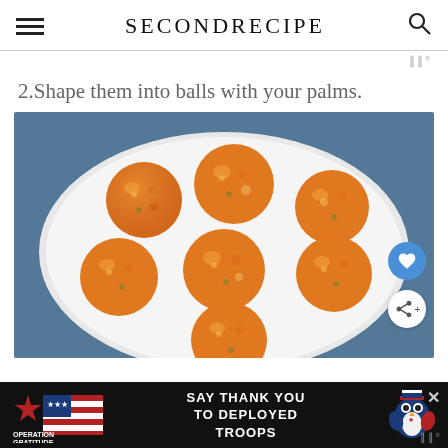SECONDRECIPE
2.Shape them into balls with your palms.
[Figure (photo): Seven orange-colored balls (likely chickpea or lentil balls) arranged on a white plate on a blue surface, with two floating action buttons (heart and share)]
[Figure (infographic): Advertisement banner: Operation Gratitude - SAY THANK YOU TO DEPLOYED TROOPS, with patriotic mascot and close button]